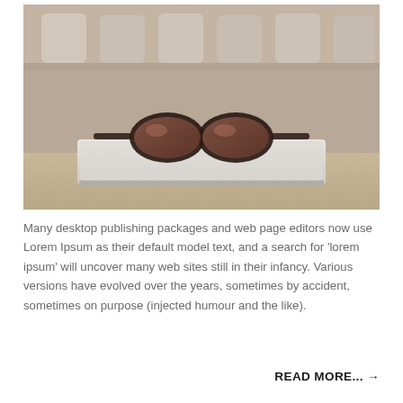[Figure (photo): A pair of dark sunglasses resting on a closed silver laptop, placed on a wooden surface with blurred background showing shelf items.]
Many desktop publishing packages and web page editors now use Lorem Ipsum as their default model text, and a search for 'lorem ipsum' will uncover many web sites still in their infancy. Various versions have evolved over the years, sometimes by accident, sometimes on purpose (injected humour and the like).
READ MORE... →